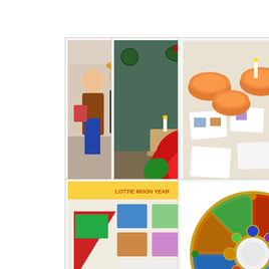[Figure (photo): Group of four people posing indoors, holding papers or books]
[Figure (photo): Church sanctuary decorated for Christmas with poinsettias and greenery on the altar]
[Figure (photo): Round table set with orange bowls and photographs/papers spread out]
Decorated Sanctuary for Christmas
[Figure (photo): Bulletin board or display with colorful papers, photos, and text including 'WMU DISTRICT' and 'LOTTIE']
[Figure (photo): Stained glass rose window with colorful circular pattern in blue, gold, green, and red]